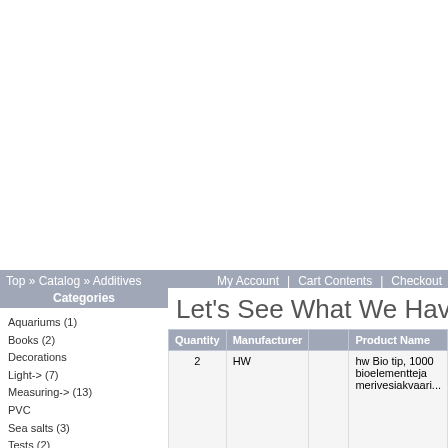Top » Catalog » Additives | My Account | Cart Contents | Checkout
Categories
Aquariums (1)
Books (2)
Decorations
Light-> (7)
Measuring-> (13)
PVC
Sea salts (3)
Tests (2)
Additives-> (29)
Balling (10)
Medications (1)
Plant care (4)
Technical equipment-> (44)
Water treatment-> (24)
Miscellaneous (12)
Manufacturers
What's New?
Let's See What We Have Here
| Quantity | Manufacturer |  | Product Name |
| --- | --- | --- | --- |
| 2 | HW |  | hw Bio tip, 1000 bioelementteja merivesiakvaari... |
| 1 | HW |  | hw hydrokoll, 2... ml |